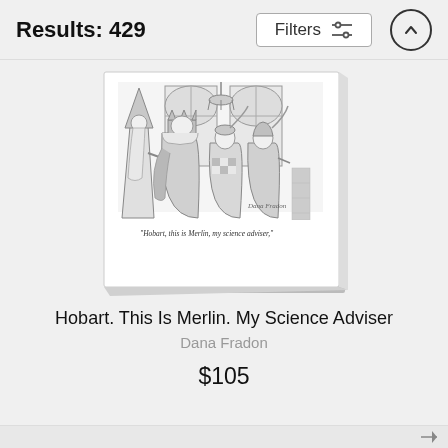Results: 429
Filters
[Figure (illustration): Black and white New Yorker cartoon canvas print showing medieval figures including a wizard in a pointed hat with a long beard, a king, and other courtly figures, with caption 'Hobart, this is Merlin, my science adviser.' The print is shown as a canvas with a slight 3D perspective, signed by Dana Fradon.]
Hobart. This Is Merlin. My Science Adviser
Dana Fradon
$105